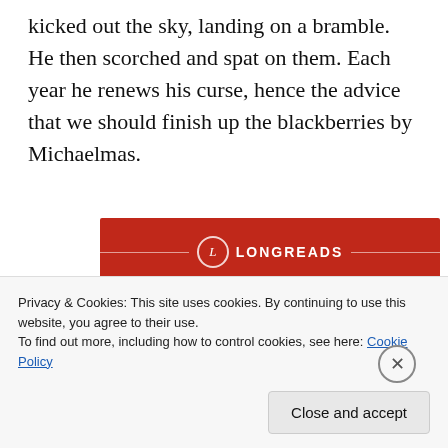kicked out the sky, landing on a bramble. He then scorched and spat on them. Each year he renews his curse, hence the advice that we should finish up the blackberries by Michaelmas.
[Figure (illustration): Longreads advertisement banner on a dark red background. Shows the Longreads logo (circle with 'L') and brand name, tagline 'The best stories on the web – ours, and everyone else's.' and a 'Start reading' button.]
Privacy & Cookies: This site uses cookies. By continuing to use this website, you agree to their use.
To find out more, including how to control cookies, see here: Cookie Policy
Close and accept